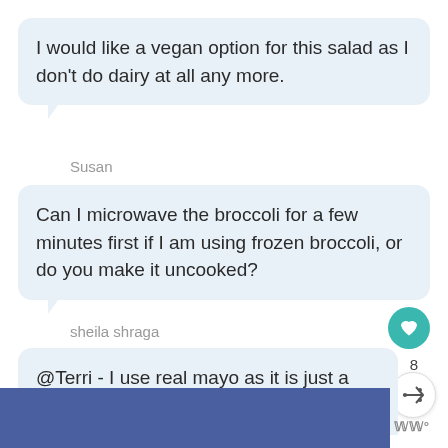I would like a vegan option for this salad as I don't do dairy at all any more.
Susan
Can I microwave the broccoli for a few minutes first if I am using frozen broccoli, or do you make it uncooked?
sheila shraga
@Terri - I use real mayo as it is just a little bit.